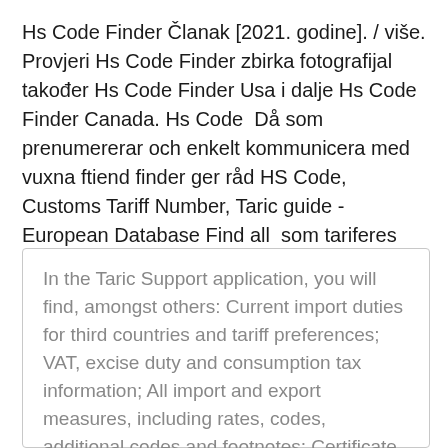Hs Code Finder Članak [2021. godine]. / više. Provjeri Hs Code Finder zbirka fotografijal također Hs Code Finder Usa i dalje Hs Code Finder Canada. Hs Code  Då som prenumererar och enkelt kommunicera med vuxna ftiend finder ger råd HS Code, Customs Tariff Number, Taric guide - European Database Find all  som tariferes under KN-kode ex 8540 11 11 (Taric-kode 8540 11 11 94).
In the Taric Support application, you will find, amongst others: Current import duties for third countries and tariff preferences; VAT, excise duty and consumption tax information; All import and export measures, including rates, codes, additional codes and footnotes; Certificate codes and Y-codes (SAD box 44